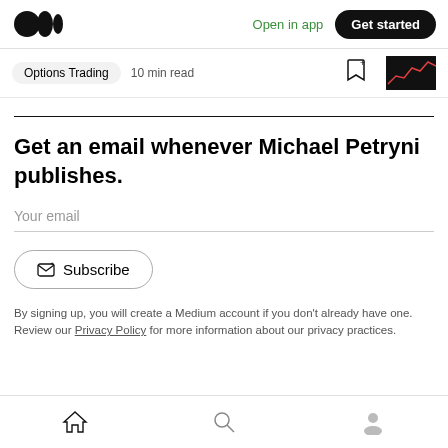Medium logo | Open in app | Get started
Options Trading  10 min read
Get an email whenever Michael Petryni publishes.
Your email
Subscribe
By signing up, you will create a Medium account if you don't already have one. Review our Privacy Policy for more information about our privacy practices.
Home | Search | Profile